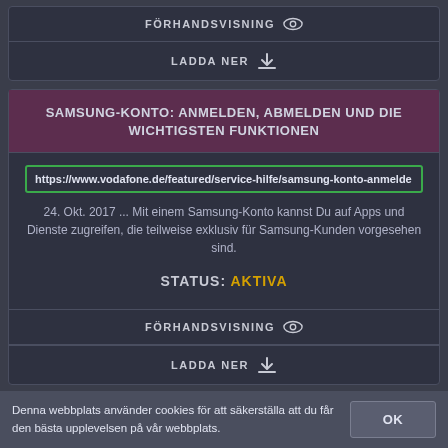FÖRHANDSVISNING
LADDA NER
SAMSUNG-KONTO: ANMELDEN, ABMELDEN UND DIE WICHTIGSTEN FUNKTIONEN
https://www.vodafone.de/featured/service-hilfe/samsung-konto-anmelde
24. Okt. 2017 ... Mit einem Samsung-Konto kannst Du auf Apps und Dienste zugreifen, die teilweise exklusiv für Samsung-Kunden vorgesehen sind.
STATUS: AKTIVA
FÖRHANDSVISNING
LADDA NER
Denna webbplats använder cookies för att säkerställa att du får den bästa upplevelsen på vår webbplats.